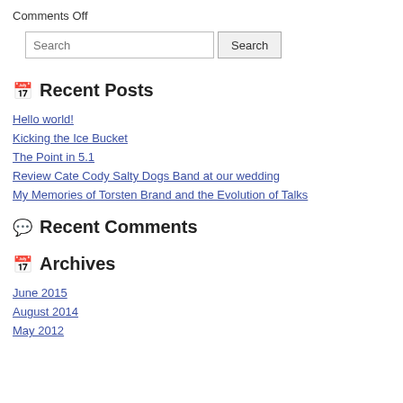Comments Off
Search
Recent Posts
Hello world!
Kicking the Ice Bucket
The Point in 5.1
Review Cate Cody Salty Dogs Band at our wedding
My Memories of Torsten Brand and the Evolution of Talks
Recent Comments
Archives
June 2015
August 2014
May 2012